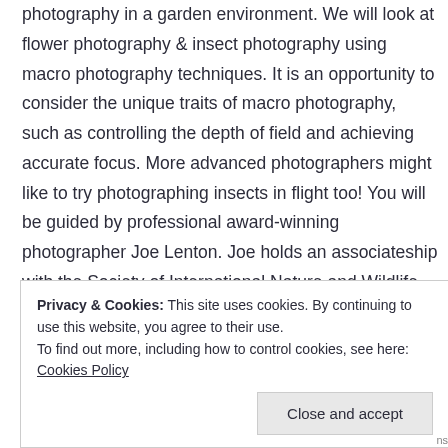photography in a garden environment. We will look at flower photography & insect photography using macro photography techniques. It is an opportunity to consider the unique traits of macro photography, such as controlling the depth of field and achieving accurate focus. More advanced photographers might like to try photographing insects in flight too! You will be guided by professional award-winning photographer Joe Lenton. Joe holds an associateship with the Society of International Nature and Wildlife Photographers.
Privacy & Cookies: This site uses cookies. By continuing to use this website, you agree to their use. To find out more, including how to control cookies, see here: Cookies Policy